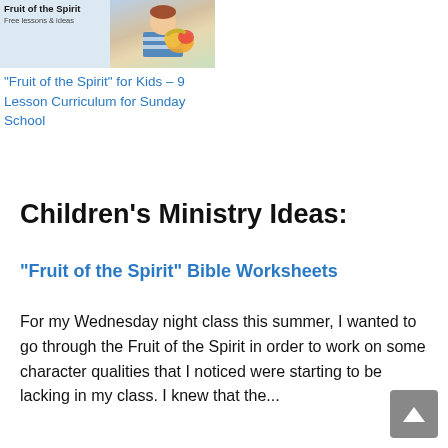[Figure (photo): Header image with text 'Fruit of the Spirit' and 'Free lessons & ideas', with a child holding fruit basket]
“Fruit of the Spirit” for Kids – 9 Lesson Curriculum for Sunday School
Children's Ministry Ideas:
"Fruit of the Spirit" Bible Worksheets
For my Wednesday night class this summer, I wanted to go through the Fruit of the Spirit in order to work on some character qualities that I noticed were starting to be lacking in my class. I knew that the...